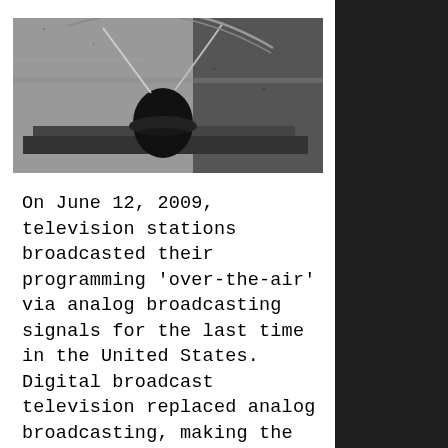[Figure (photo): Black and white photograph of a rabbit-ear TV antenna sitting on what appears to be a television set, with a curved frame or lampshade visible behind it.]
On June 12, 2009, television stations broadcasted their programming 'over-the-air' via analog broadcasting signals for the last time in the United States. Digital broadcast television replaced analog broadcasting, making the rabbit-ear antenna obsolete. Almost 2.8 million homes in the US were not prepared for the transition, which